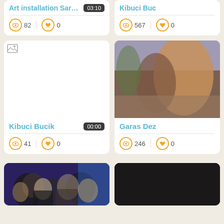[Figure (screenshot): Video listing grid showing video cards with thumbnails, titles, durations, view counts and like counts]
Art installation Saraje... 03:10 | views: 82 | likes: 0
Kibuci Buc... | views: 567 | likes: 0
Kibuci Bucik 00:00 | views: 41 | likes: 0
Garas Dez... | views: 246 | likes: 0
[Figure (photo): Students in classroom]
[Figure (photo): Dark thumbnail, partially visible]